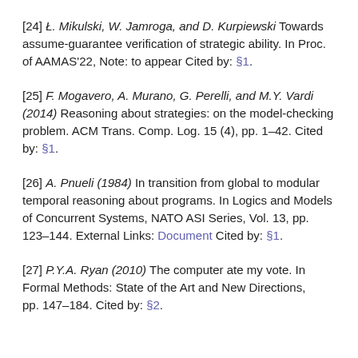[24] Ł. Mikulski, W. Jamroga, and D. Kurpiewski Towards assume-guarantee verification of strategic ability. In Proc. of AAMAS'22, Note: to appear Cited by: §1.
[25] F. Mogavero, A. Murano, G. Perelli, and M.Y. Vardi (2014) Reasoning about strategies: on the model-checking problem. ACM Trans. Comp. Log. 15 (4), pp. 1–42. Cited by: §1.
[26] A. Pnueli (1984) In transition from global to modular temporal reasoning about programs. In Logics and Models of Concurrent Systems, NATO ASI Series, Vol. 13, pp. 123–144. External Links: Document Cited by: §1.
[27] P.Y.A. Ryan (2010) The computer ate my vote. In Formal Methods: State of the Art and New Directions, pp. 147–184. Cited by: §2.